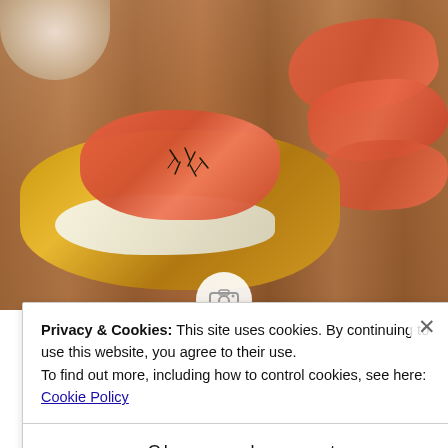[Figure (photo): Food photo showing toasted bread slices topped with cream cheese and smoked salmon with dill, alongside extra smoked salmon pieces and a bowl of cream cheese on a wooden board]
Easter Appetizer: Smoked Salmon &
Privacy & Cookies: This site uses cookies. By continuing to use this website, you agree to their use.
To find out more, including how to control cookies, see here: Cookie Policy
Close and accept